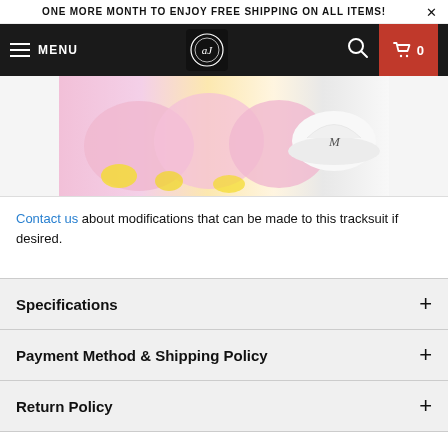ONE MORE MONTH TO ENJOY FREE SHIPPING ON ALL ITEMS!
[Figure (screenshot): Navigation bar with hamburger menu (MENU), center logo, search icon, and red cart icon showing 0]
[Figure (photo): Product photo of pink tracksuits/clothing items with a white cap visible on the right side]
Contact us about modifications that can be made to this tracksuit if desired.
Specifications +
Payment Method & Shipping Policy +
Return Policy +
Collections: Catalog, Fidget Pop It, Girls, Kid's Outerwear